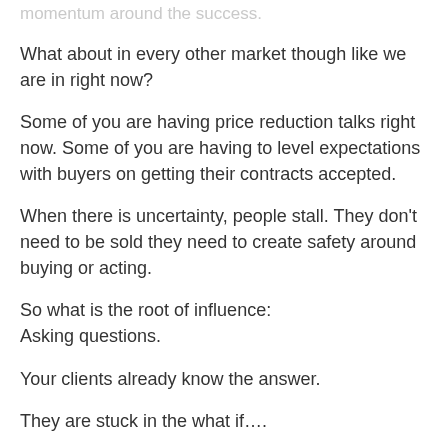momentum around the success.
What about in every other market though like we are in right now?
Some of you are having price reduction talks right now. Some of you are having to level expectations with buyers on getting their contracts accepted.
When there is uncertainty, people stall. They don't need to be sold they need to create safety around buying or acting.
So what is the root of influence:
Asking questions.
Your clients already know the answer.
They are stuck in the what if….
What if I can pay less
What if there is another home